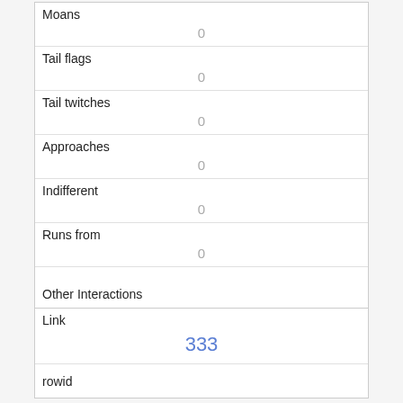| Moans | 0 |
| Tail flags | 0 |
| Tail twitches | 0 |
| Approaches | 0 |
| Indifferent | 0 |
| Runs from | 0 |
| Other Interactions |  |
| Lat/Long | POINT (-73.9578779556574 40.7934116539732) |
| Link | 333 |
| rowid |  |